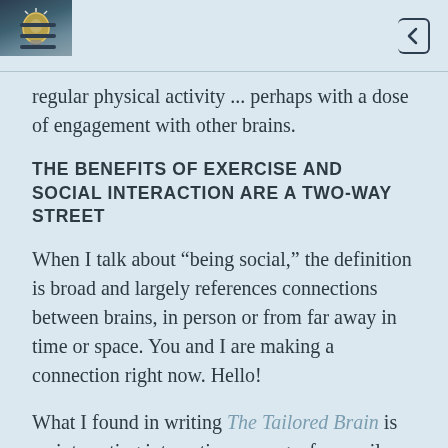[hamburger menu] [lightbulb image] [back button]
regular physical activity ... perhaps with a dose of engagement with other brains.
THE BENEFITS OF EXERCISE AND SOCIAL INTERACTION ARE A TWO-WAY STREET
When I talk about “being social,” the definition is broad and largely references connections between brains, in person or from far away in time or space. You and I are making a connection right now. Hello!
What I found in writing The Tailored Brain is an interesting interaction among a few easily